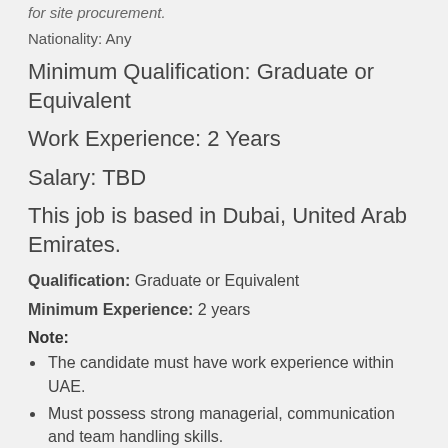for site procurement.
Nationality: Any
Minimum Qualification: Graduate or Equivalent
Work Experience: 2 Years
Salary: TBD
This job is based in Dubai, United Arab Emirates.
Qualification: Graduate or Equivalent
Minimum Experience: 2 years
Note:
The candidate must have work experience within UAE.
Must possess strong managerial, communication and team handling skills.
CONTACT THE JOB POSTER
[Figure (logo): Versatile Consultancy logo with chevron icon]